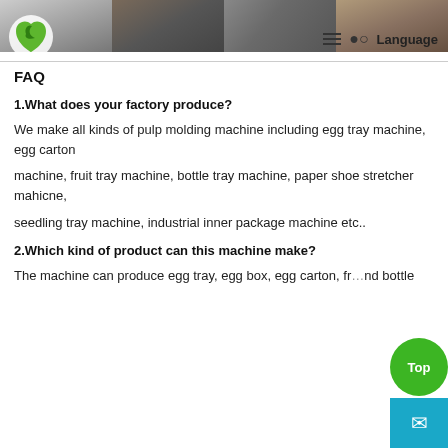[Figure (photo): Website header with navigation bar showing logo, hamburger menu, search icon, and Language button, with four factory/industrial photos across the top]
FAQ
1.What does your factory produce?
We make all kinds of pulp molding machine including egg tray machine, egg carton machine, fruit tray machine, bottle tray machine, paper shoe stretcher mahicne, seedling tray machine, industrial inner package machine etc..
2.Which kind of product can this machine make?
The machine can produce egg tray, egg box, egg carton, fr... and bottle